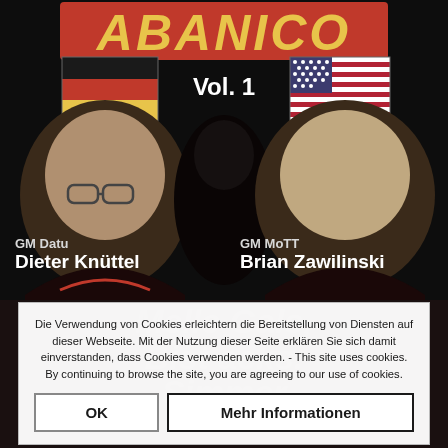[Figure (photo): Promotional image for 'ABANICO Vol. 1' featuring two martial arts grandmasters: GM Datu Dieter Knüttel (left, with German flag) and GM MoTT Brian Zawilinski (right, with US flag), with a dark figure in the center background.]
ABANICO
Vol. 1
GM Datu
Dieter Knüttel
GM MoTT
Brian Zawilinski
Die Verwendung von Cookies erleichtern die Bereitstellung von Diensten auf dieser Webseite. Mit der Nutzung dieser Seite erklären Sie sich damit einverstanden, dass Cookies verwenden werden. - This site uses cookies. By continuing to browse the site, you are agreeing to our use of cookies.
OK
Mehr Informationen